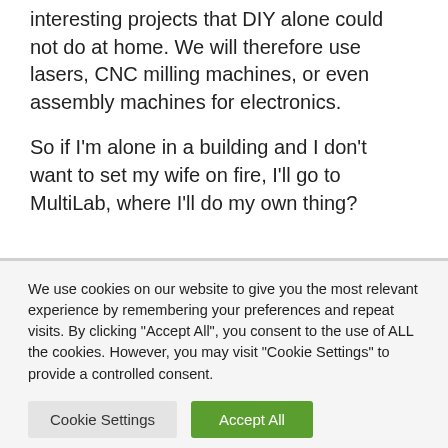interesting projects that DIY alone could not do at home. We will therefore use lasers, CNC milling machines, or even assembly machines for electronics.
So if I'm alone in a building and I don't want to set my wife on fire, I'll go to MultiLab, where I'll do my own thing?
We use cookies on our website to give you the most relevant experience by remembering your preferences and repeat visits. By clicking "Accept All", you consent to the use of ALL the cookies. However, you may visit "Cookie Settings" to provide a controlled consent.